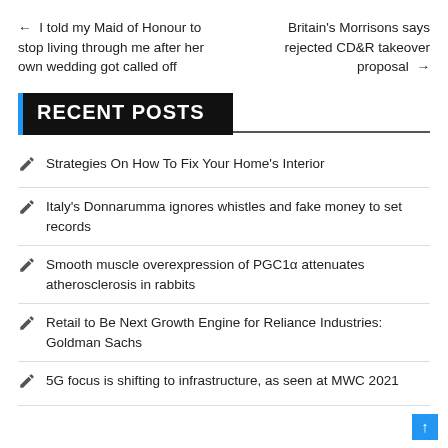← I told my Maid of Honour to stop living through me after her own wedding got called off
Britain's Morrisons says rejected CD&R takeover proposal →
RECENT POSTS
Strategies On How To Fix Your Home's Interior
Italy's Donnarumma ignores whistles and fake money to set records
Smooth muscle overexpression of PGC1α attenuates atherosclerosis in rabbits
Retail to Be Next Growth Engine for Reliance Industries: Goldman Sachs
5G focus is shifting to infrastructure, as seen at MWC 2021